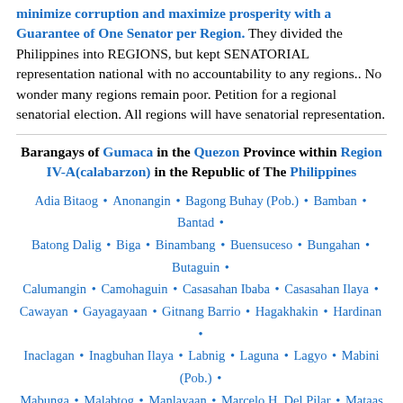minimize corruption and maximize prosperity with a Guarantee of One Senator per Region. They divided the Philippines into REGIONS, but kept SENATORIAL representation national with no accountability to any regions.. No wonder many regions remain poor. Petition for a regional senatorial election. All regions will have senatorial representation.
Barangays of Gumaca in the Quezon Province within Region IV-A(calabarzon) in the Republic of The Philippines
Adia Bitaog • Anonangin • Bagong Buhay (Pob.) • Bamban • Bantad • Batong Dalig • Biga • Binambang • Buensuceso • Bungahan • Butaguin • Calumangin • Camohaguin • Casasahan Ibaba • Casasahan Ilaya • Cawayan • Gayagayaan • Gitnang Barrio • Hagakhakin • Hardinan • Inaclagan • Inagbuhan Ilaya • Labnig • Laguna • Lagyo • Mabini (Pob.) • Mabunga • Malabtog • Manlayaan • Marcelo H. Del Pilar • Mataas Na Bundok • Maunlad (Pob.) • Pagsabangan • Panikihan • Peñafrancia